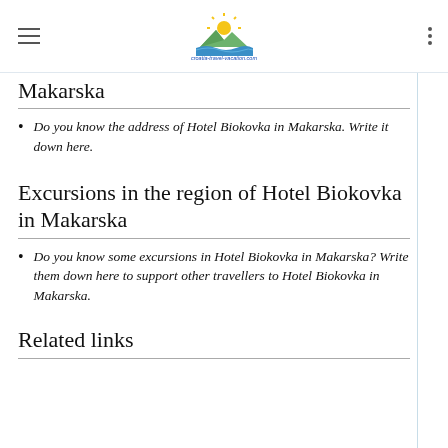croatia-travel-vacation.com
Makarska
Do you know the address of Hotel Biokovka in Makarska. Write it down here.
Excursions in the region of Hotel Biokovka in Makarska
Do you know some excursions in Hotel Biokovka in Makarska? Write them down here to support other travellers to Hotel Biokovka in Makarska.
Related links